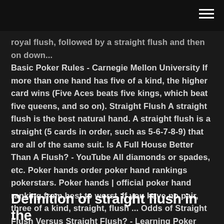royal flush, followed by a straight flush and then on down... Basic Poker Rules - Carnegie Mellon University If more than one hand has five of a kind, the higher card wins (Five Aces beats five kings, which beat five queens, and so on). Straight Flush A straight flush is the best natural hand. A straight flush is a straight (5 cards in order, such as 5-6-7-8-9) that are all of the same suit. Is A Full House Better Than A Flush? - YouTube All diamonds or spades, etc. Poker hands order poker hand rankings pokerstars. Poker hands | official poker hand ranking from best to worst. If you have no pair, three of a kind, straight, flush ... Odds of Straight Flush Versus Straight Flush? - Learning Poker
Definition of straight flush in the